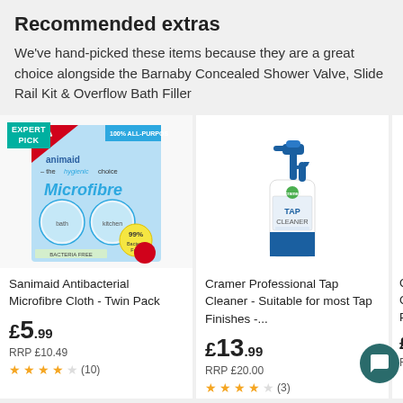Recommended extras
We've hand-picked these items because they are a great choice alongside the Barnaby Concealed Shower Valve, Slide Rail Kit & Overflow Bath Filler
[Figure (photo): Sanimaid Antibacterial Microfibre Cloth Twin Pack product image with EXPERT PICK badge]
Sanimaid Antibacterial Microfibre Cloth - Twin Pack
£5.99
RRP £10.49
★★★★☆ (10)
[Figure (photo): Cramer Professional Tap Cleaner spray bottle product image]
Cramer Professional Tap Cleaner - Suitable for most Tap Finishes -...
£13.99
RRP £20.00
★★★★☆ (3)
[Figure (photo): Partially visible third product (Cramer Chrome Polish) image]
Cram... Chro... Polis...